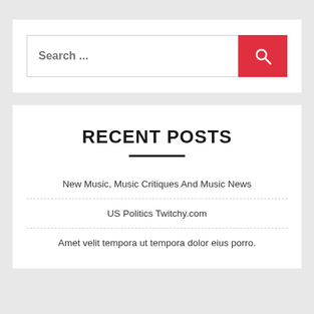[Figure (screenshot): Search bar widget with text input placeholder 'Search ...' and a red search button with magnifying glass icon]
RECENT POSTS
New Music, Music Critiques And Music News
US Politics Twitchy.com
Amet velit tempora ut tempora dolor eius porro.